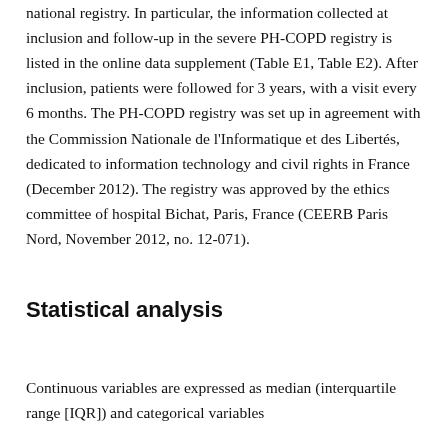national registry. In particular, the information collected at inclusion and follow-up in the severe PH-COPD registry is listed in the online data supplement (Table E1, Table E2). After inclusion, patients were followed for 3 years, with a visit every 6 months. The PH-COPD registry was set up in agreement with the Commission Nationale de l'Informatique et des Libertés, dedicated to information technology and civil rights in France (December 2012). The registry was approved by the ethics committee of hospital Bichat, Paris, France (CEERB Paris Nord, November 2012, no. 12-071).
Statistical analysis
Continuous variables are expressed as median (interquartile range [IQR]) and categorical variables